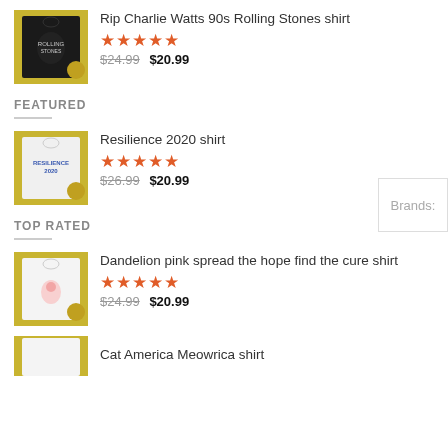[Figure (photo): Product thumbnail: black t-shirt with Rolling Stones graphic on yellow/green camouflage background]
Rip Charlie Watts 90s Rolling Stones shirt
★★★★★
$24.99  $20.99
FEATURED
[Figure (photo): Product thumbnail: white t-shirt with Resilience 2020 text on yellow/green camouflage background]
Resilience 2020 shirt
★★★★★
$26.99  $20.99
TOP RATED
[Figure (photo): Product thumbnail: white t-shirt with Dandelion pink graphic on yellow/green camouflage background]
Dandelion pink spread the hope find the cure shirt
★★★★★
$24.99  $20.99
[Figure (photo): Product thumbnail: partial view of another t-shirt product]
Cat America Meowrica shirt